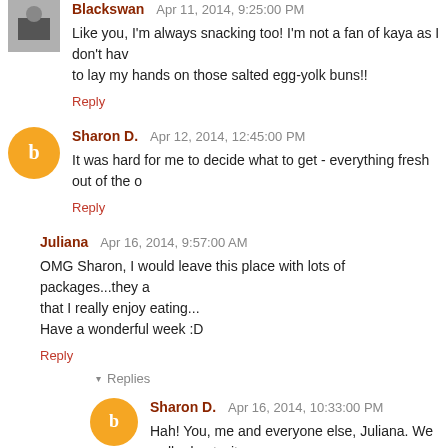Blackswan Apr 11, 2014, 9:25:00 PM - Like you, I'm always snacking too! I'm not a fan of kaya as I don't hav to lay my hands on those salted egg-yolk buns!!
Reply
Sharon D. Apr 12, 2014, 12:45:00 PM - It was hard for me to decide what to get - everything fresh out of the o
Reply
Juliana Apr 16, 2014, 9:57:00 AM - OMG Sharon, I would leave this place with lots of packages...they a that I really enjoy eating... Have a wonderful week :D
Reply
▾ Replies
Sharon D. Apr 16, 2014, 10:33:00 PM - Hah! You, me and everyone else, Juliana. We walked out wit
Reply